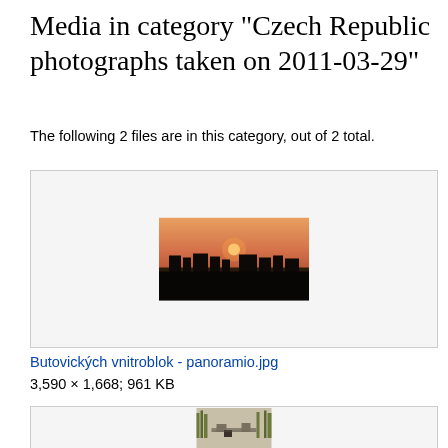Media in category "Czech Republic photographs taken on 2011-03-29"
The following 2 files are in this category, out of 2 total.
[Figure (photo): Panoramic sunset photograph of city blocks, Butovických vnitroblok - panoramio.jpg]
Butovických vnitroblok - panoramio.jpg
3,590 × 1,668; 961 KB
[Figure (photo): Stone ruins in a wooded area, partially visible at bottom of page]